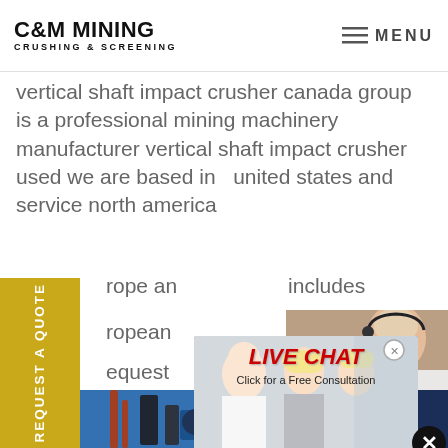C&M MINING CRUSHING & SCREENING | MENU
vertical shaft impact crusher canada group is a professional mining machinery manufacturer vertical shaft impact crusher used we are based in the united states and service north america rope and includes ropean request
[Figure (screenshot): Live Chat popup overlay showing workers in hard hats and text: LIVE CHAT Click for a Free Consultation, with Chat now (red) and Chat later (dark) buttons]
[Figure (photo): Industrial mining machinery photo at bottom left]
[Figure (photo): Customer service woman with headset on right side with Have any requests, click here. text and Quotation button]
REQUEST A QUOTE
Have any requests, click here.
Quotation